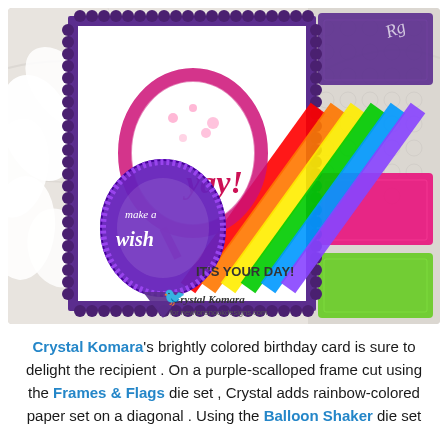[Figure (photo): A brightly colored birthday card featuring a purple glitter balloon shape with 'make a wish' text, rainbow-colored diagonal stripes, 'yay!' text in pink, 'it's your day!' text, on a purple scalloped frame. White flower petals visible on left, ink pads on right, lace underneath. Crystal Komara watermark for newtonsnookdesigns.com.]
Crystal Komara's brightly colored birthday card is sure to delight the recipient . On a purple-scalloped frame cut using the Frames & Flags die set , Crystal adds rainbow-colored paper set on a diagonal . Using the Balloon Shaker die set